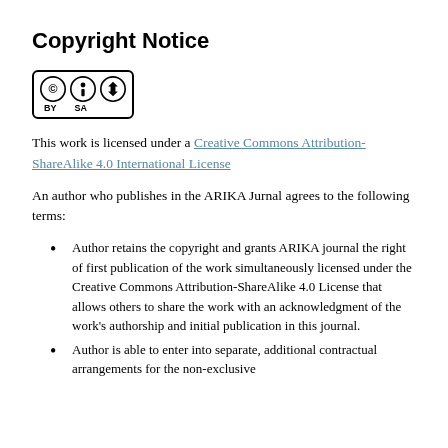Copyright Notice
[Figure (logo): Creative Commons Attribution-ShareAlike license badge with CC, BY, and SA icons]
This work is licensed under a Creative Commons Attribution-ShareAlike 4.0 International License
An author who publishes in the ARIKA Jurnal agrees to the following terms:
Author retains the copyright and grants ARIKA journal the right of first publication of the work simultaneously licensed under the Creative Commons Attribution-ShareAlike 4.0 License that allows others to share the work with an acknowledgment of the work's authorship and initial publication in this journal.
Author is able to enter into separate, additional contractual arrangements for the non-exclusive distribution of the journal's published version of the...